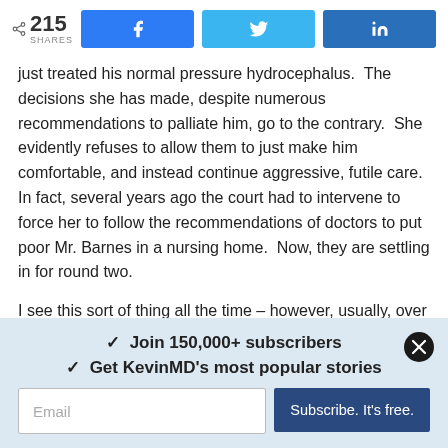[Figure (other): Social share bar with share count 215 SHARES and Facebook, Twitter, LinkedIn buttons]
just treated his normal pressure hydrocephalus.  The decisions she has made, despite numerous recommendations to palliate him, go to the contrary.  She evidently refuses to allow them to just make him comfortable, and instead continue aggressive, futile care.  In fact, several years ago the court had to intervene to force her to follow the recommendations of doctors to put poor Mr. Barnes in a nursing home.  Now, they are settling in for round two.
I see this sort of thing all the time – however, usually, over time, most sane people can be convinced of the futility of prolonging life in these cases.  Just the other day I had a
[Figure (other): Newsletter subscription box with checkmarks: Join 150,000+ subscribers, Get KevinMD's most popular stories, email input field and Subscribe. It's free. button]